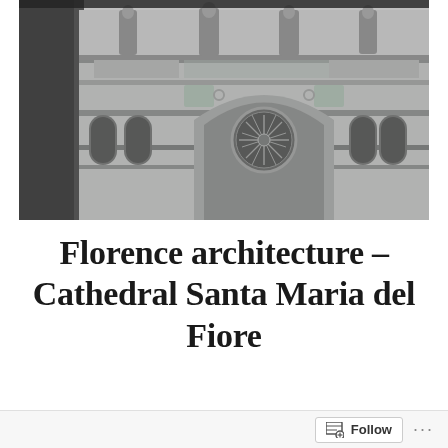[Figure (photo): Black and white photograph of the facade of Florence Cathedral (Santa Maria del Fiore), showing Gothic arches, ornate marble decoration, rose window, and statues along the roofline.]
Florence architecture – Cathedral Santa Maria del Fiore
07/08/2018   BY DAMMYVO3
Follow ...